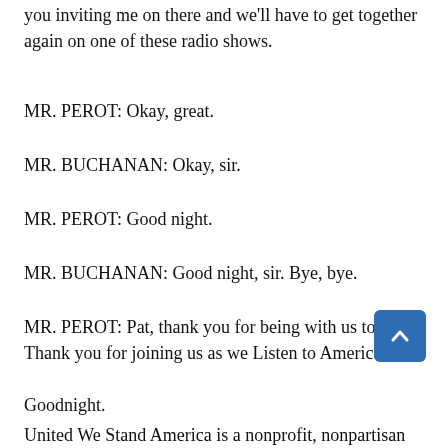you inviting me on there and we'll have to get together again on one of these radio shows.
MR. PEROT: Okay, great.
MR. BUCHANAN: Okay, sir.
MR. PEROT: Good night.
MR. BUCHANAN: Good night, sir. Bye, bye.
MR. PEROT: Pat, thank you for being with us tonight. Thank you for joining us as we Listen to America.
Goodnight.
United We Stand America is a nonprofit, nonpartisan